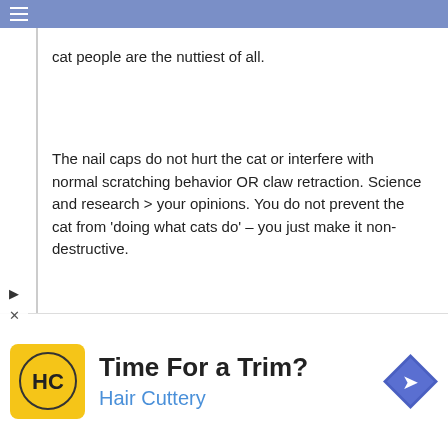≡ (menu icon)
cat people are the nuttiest of all.
The nail caps do not hurt the cat or interfere with normal scratching behavior OR claw retraction. Science and research > your opinions. You do not prevent the cat from 'doing what cats do' – you just make it non-destructive.
Bunch of idiots.
Reply ↓
Michael on October 1, 2012 at 4:53 pm said:
I think you are being harsh and rude. The point Finn akes is that it is just as easy to trim claws and then the can express natural desires properly. What is nutty
[Figure (infographic): Advertisement banner: HC Hair Cuttery logo with text 'Time For a Trim?' and 'Hair Cuttery', plus a road sign icon]